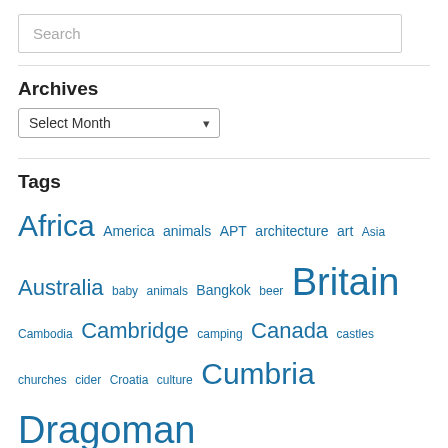Search
Archives
Select Month
Tags
Africa America animals APT architecture art Asia Australia baby animals Bangkok beer Britain Cambodia Cambridge camping Canada castles churches cider Croatia culture Cumbria Dragoman England Europe family flowers flying food France friends gardens glaciers hiking history Iceland Ireland Italy